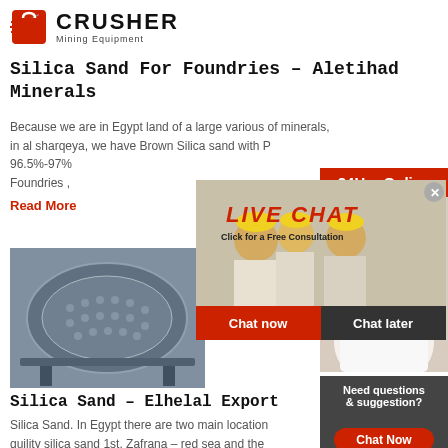CRUSHER Mining Equipment
Silica Sand For Foundries – Aletihad Minerals
Because we are in Egypt land of a large various of minerals, in al sharqeya, we have Brown Silica sand with 96.5%-97% Foundries ,
Read More
[Figure (photo): Industrial grinding mill/ball mill machinery]
[Figure (photo): Live chat popup overlay with workers in hard hats, LIVE CHAT text, Chat now and Chat later buttons]
[Figure (photo): Right sidebar: 24Hrs Online banner, customer service representative with headset, Need questions & suggestion?, Chat Now button, Enquiry section, limingjlmofen@sina.com email]
Silica Sand – Elhelal Export
Silica Sand. In Egypt there are two main locations of high quality silica sand 1st, Zafrana – red sea and the south Sinai , The reseves in Zafrana area and Sinai are